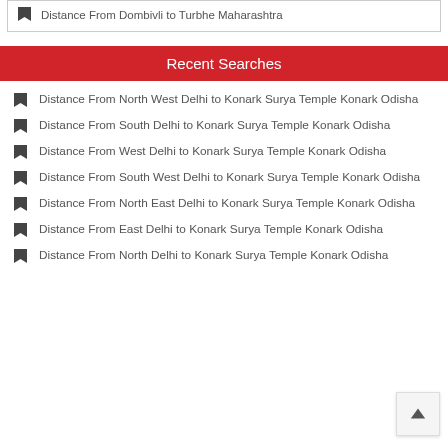Distance From Dombivli to Turbhe Maharashtra
Recent Searches
Distance From North West Delhi to Konark Surya Temple Konark Odisha
Distance From South Delhi to Konark Surya Temple Konark Odisha
Distance From West Delhi to Konark Surya Temple Konark Odisha
Distance From South West Delhi to Konark Surya Temple Konark Odisha
Distance From North East Delhi to Konark Surya Temple Konark Odisha
Distance From East Delhi to Konark Surya Temple Konark Odisha
Distance From North Delhi to Konark Surya Temple Konark Odisha